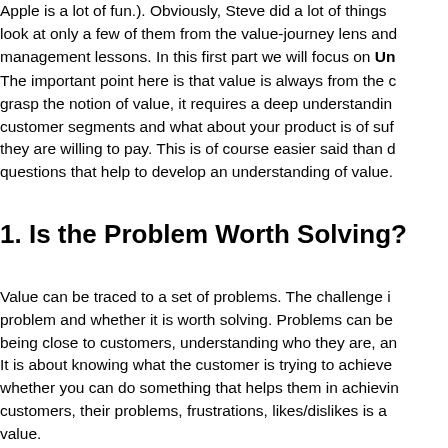Apple is a lot of fun.). Obviously, Steve did a lot of things look at only a few of them from the value-journey lens and management lessons. In this first part we will focus on Un
The important point here is that value is always from the c grasp the notion of value, it requires a deep understandin customer segments and what about your product is of suf they are willing to pay. This is of course easier said than d questions that help to develop an understanding of value.
1. Is the Problem Worth Solving?
Value can be traced to a set of problems. The challenge i problem and whether it is worth solving. Problems can be being close to customers, understanding who they are, an It is about knowing what the customer is trying to achieve whether you can do something that helps them in achievin customers, their problems, frustrations, likes/dislikes is a value.